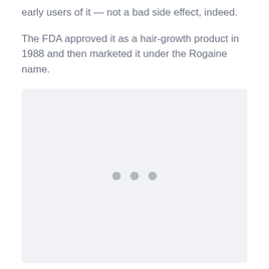early users of it — not a bad side effect, indeed.
The FDA approved it as a hair-growth product in 1988 and then marketed it under the Rogaine name.
[Figure (photo): Loading placeholder with three dots indicating an image is loading]